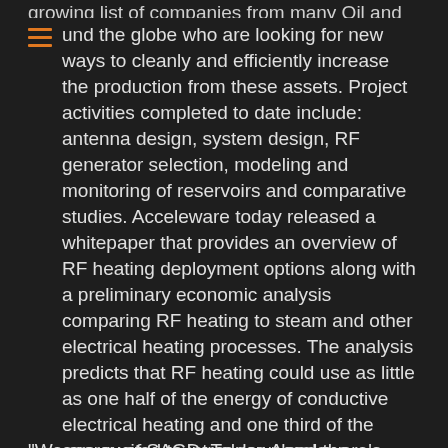growing list of companies from many Oil and Gas und the globe who are looking for new ways to cleanly and efficiently increase the production from these assets.  Project activities completed to date include: antenna design, system design, RF generator selection, modeling and monitoring of reservoirs and comparative studies.  Acceleware today released a whitepaper that provides an overview of RF heating deployment options along with a preliminary economic analysis comparing RF heating to steam and other electrical heating processes.  The analysis predicts that RF heating could use as little as one half of the energy of conductive electrical heating and one third of the energy of SAGD.  To download the whitepaper visit www.acceleware.com
"We are excited to introduce Acceleware's leading it...